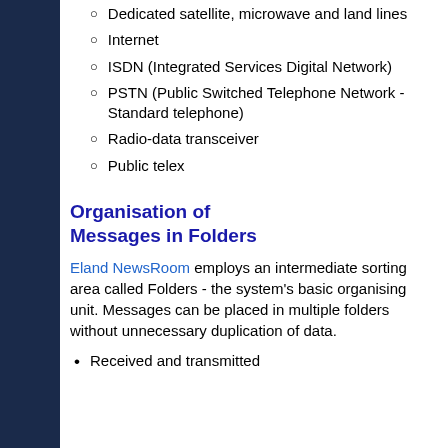Dedicated satellite, microwave and land lines
Internet
ISDN (Integrated Services Digital Network)
PSTN (Public Switched Telephone Network - Standard telephone)
Radio-data transceiver
Public telex
Organisation of Messages in Folders
Eland NewsRoom employs an intermediate sorting area called Folders - the system's basic organising unit. Messages can be placed in multiple folders without unnecessary duplication of data.
Received and transmitted